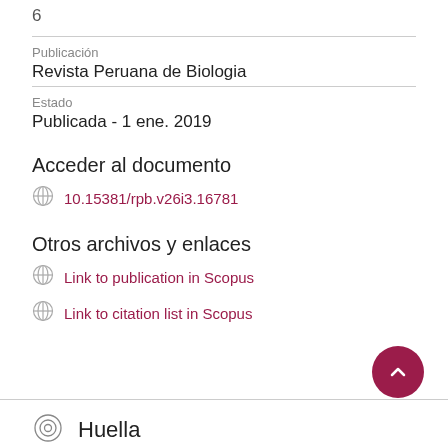6
Publicación
Revista Peruana de Biologia
Estado
Publicada - 1 ene. 2019
Acceder al documento
10.15381/rpb.v26i3.16781
Otros archivos y enlaces
Link to publication in Scopus
Link to citation list in Scopus
Huella